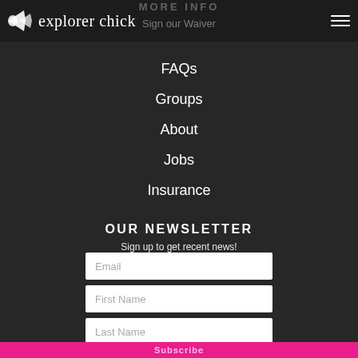MORE INFO
Sign our Waiver
FAQs
Groups
About
Jobs
Insurance
OUR NEWSLETTER
Sign up to get recent news!
Email
First Name
Last Name
Subscribe